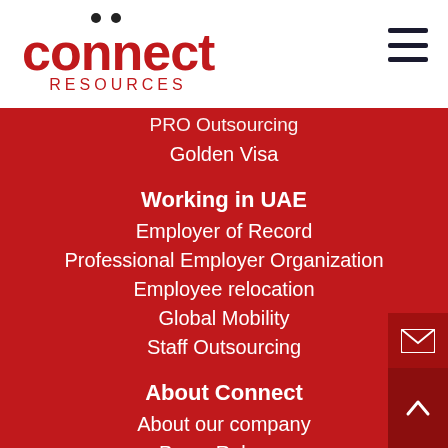[Figure (logo): Connect Resources logo with red stylized text 'connect' and dots above letters, with 'RESOURCES' subtitle below]
PRO Outsourcing
Golden Visa
Working in UAE
Employer of Record
Professional Employer Organization
Employee relocation
Global Mobility
Staff Outsourcing
About Connect
About our company
Press Release
Insights